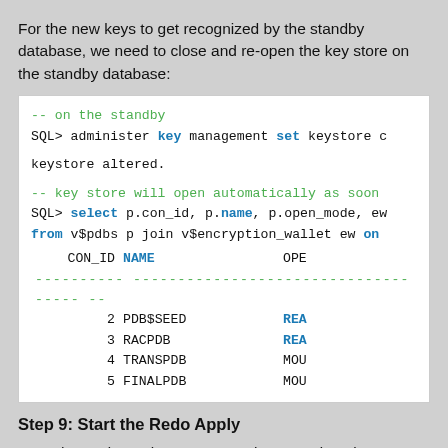For the new keys to get recognized by the standby database, we need to close and re-open the key store on the standby database:
[Figure (screenshot): Code block showing SQL commands to administer key management and query v$pdbs joined with v$encryption_wallet, with query results showing CON_ID, NAME, OPEN_MODE columns for PDB$SEED, RACPDB, TRANSPDB, FINALPDB]
Step 9: Start the Redo Apply
Now, the Redo Apply process can be started again: